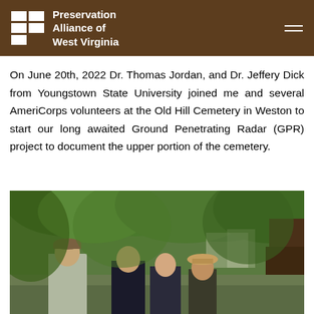Preservation Alliance of West Virginia
On June 20th, 2022 Dr. Thomas Jordan, and Dr. Jeffery Dick from Youngstown State University joined me and several AmeriCorps volunteers at the Old Hill Cemetery in Weston to start our long awaited Ground Penetrating Radar (GPR) project to document the upper portion of the cemetery.
[Figure (photo): Outdoor photo at Old Hill Cemetery in Weston showing several people standing under large green trees, appearing to review materials or equipment. People visible include a man in a plaid shirt and cap, a person in a black shirt, and another person in a tan hat.]